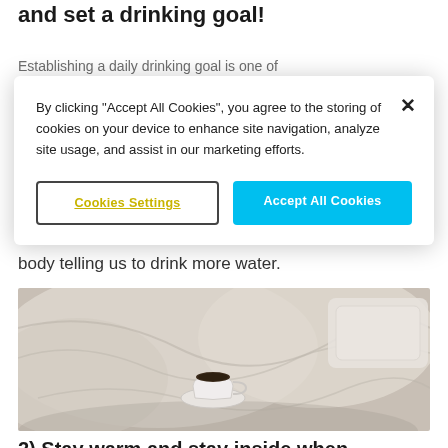and set a drinking goal!
Establishing a daily drinking goal is one of
[Figure (screenshot): Cookie consent modal overlay with text: 'By clicking "Accept All Cookies", you agree to the storing of cookies on your device to enhance site navigation, analyze site usage, and assist in our marketing efforts.' with two buttons: 'Cookies Settings' and 'Accept All Cookies']
body telling us to drink more water.
[Figure (photo): A photo of a white bed with rumpled white sheets and pillows, with a white coffee cup and saucer placed in the center of the bed]
2) Stay warm and stay inside when